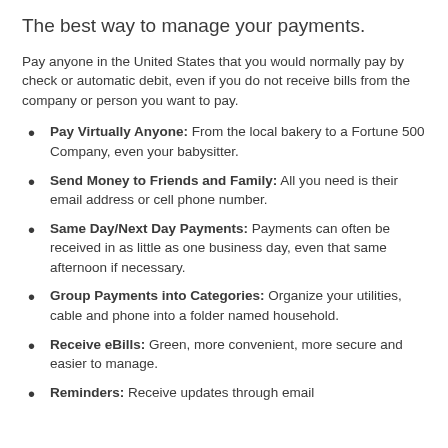The best way to manage your payments.
Pay anyone in the United States that you would normally pay by check or automatic debit, even if you do not receive bills from the company or person you want to pay.
Pay Virtually Anyone: From the local bakery to a Fortune 500 Company, even your babysitter.
Send Money to Friends and Family: All you need is their email address or cell phone number.
Same Day/Next Day Payments: Payments can often be received in as little as one business day, even that same afternoon if necessary.
Group Payments into Categories: Organize your utilities, cable and phone into a folder named household.
Receive eBills: Green, more convenient, more secure and easier to manage.
Reminders: Receive updates through email